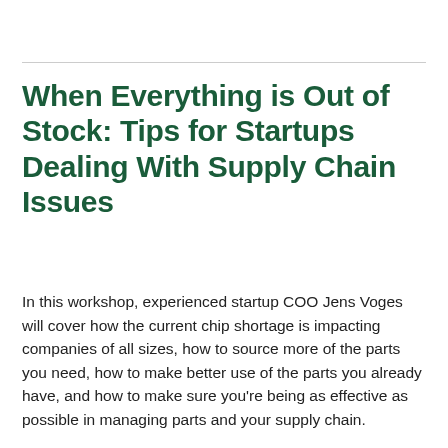When Everything is Out of Stock: Tips for Startups Dealing With Supply Chain Issues
In this workshop, experienced startup COO Jens Voges will cover how the current chip shortage is impacting companies of all sizes, how to source more of the parts you need, how to make better use of the parts you already have, and how to make sure you're being as effective as possible in managing parts and your supply chain.